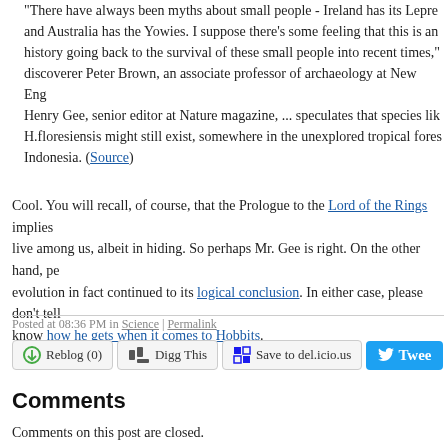"There have always been myths about small people - Ireland has its Leprechauns and Australia has the Yowies. I suppose there's some feeling that this is an oral history going back to the survival of these small people into recent times," ... discoverer Peter Brown, an associate professor of archaeology at New England. Henry Gee, senior editor at Nature magazine, ... speculates that species like H.floresiensis might still exist, somewhere in the unexplored tropical forests of Indonesia. (Source)
Cool. You will recall, of course, that the Prologue to the Lord of the Rings implies that Hobbits live among us, albeit in hiding. So perhaps Mr. Gee is right. On the other hand, perhaps Hobbit evolution in fact continued to its logical conclusion. In either case, please don't tell PJ — you know how he gets when it comes to Hobbits.
Posted at 08:36 PM in Science | Permalink
[Figure (screenshot): Social sharing buttons: Reblog (0), Digg This, Save to del.icio.us, Tweet]
Comments
Comments on this post are closed.
[Figure (logo): Powered by TypePad badge]